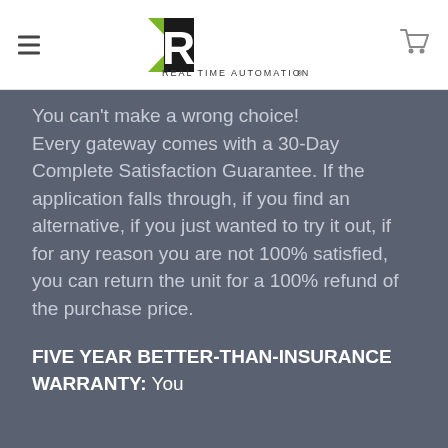[Figure (logo): Real Time Automation (RTA) logo with green arrow and black text]
You can't make a wrong choice! Every gateway comes with a 30-Day Complete Satisfaction Guarantee. If the application falls through, if you find an alternative, if you just wanted to try it out, if for any reason you are not 100% satisfied, you can return the unit for a 100% refund of the purchase price.
FIVE YEAR BETTER-THAN-INSURANCE WARRANTY: You